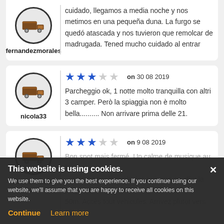fernandezmorales — cuidado, llegamos a media noche y nos metimos en una pequeña duna. La furgo se quedó atascada y nos tuvieron que remolcar de madrugada. Tened mucho cuidado al entrar
nicola33 — ★★★☆☆ on 30 08 2019 — Parcheggio ok, 1 notte molto tranquilla con altri 3 camper. Però la spiaggia non è molto bella.......... Non arrivare prima delle 21.
Alexisimache — ★★★☆☆ on 9 08 2019 — (partial text about campsite, cookie overlay)
This website is using cookies. We use them to give you the best experience. If you continue using our website, we'll assume that you are happy to receive all cookies on this website. Continue  Learn more